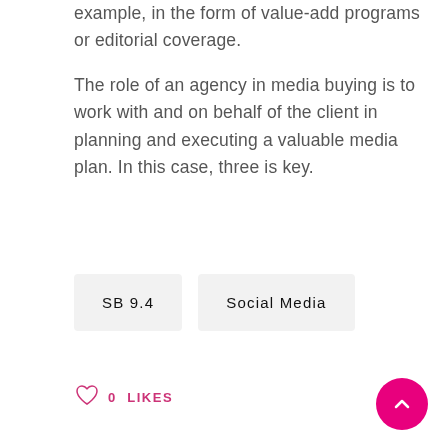example, in the form of value-add programs or editorial coverage.
The role of an agency in media buying is to work with and on behalf of the client in planning and executing a valuable media plan. In this case, three is key.
SB 9.4
Social Media
0 LIKES